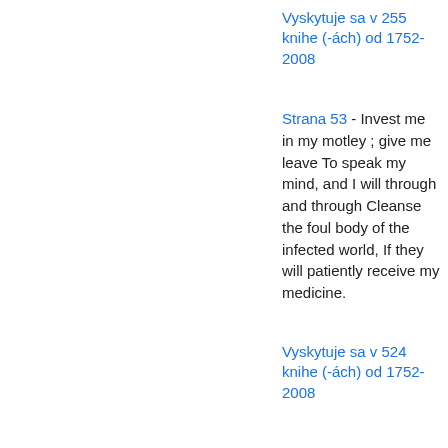Vyskytuje sa v 255 knihe (-ách) od 1752-2008
Strana 53 - Invest me in my motley ; give me leave To speak my mind, and I will through and through Cleanse the foul body of the infected world, If they will patiently receive my medicine.
Vyskytuje sa v 524 knihe (-ách) od 1752-2008
Strana 165 - Our remedies oft in ourselves do lie, Which we ascribe to heaven : the fated sky Gives us free scope ; only, doth backward pull Our slow designs, when we ourselves are dull